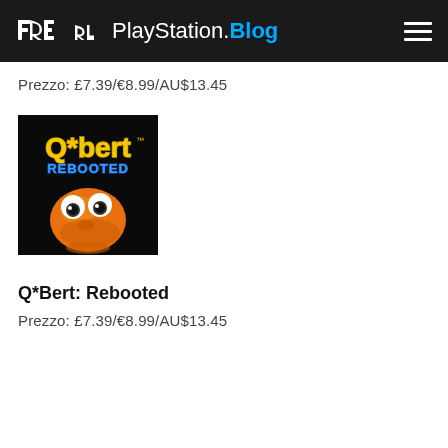PlayStation.Blog
Prezzo: £7.39/€8.99/AU$13.45
[Figure (illustration): Q*bert Rebooted game cover art showing the orange Q*bert character with large googly eyes against a black background with yellow Q*bert logo and blue REBOOTED text]
Q*Bert: Rebooted
Prezzo: £7.39/€8.99/AU$13.45